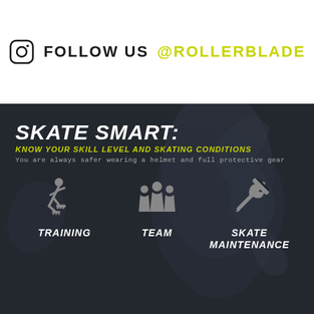FOLLOW US @ROLLERBLADE
SKATE SMART:
KNOW YOUR SKILL LEVEL AND SKATING CONDITIONS
You are always safer wearing a helmet and full protective gear
[Figure (infographic): Three icons: a skater (TRAINING), a group of people (TEAM), and a wrench/cross tool (SKATE MAINTENANCE) on dark background with skating silhouette]
TRAINING
TEAM
SKATE MAINTENANCE